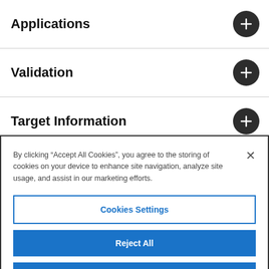Applications
Validation
Target Information
By clicking “Accept All Cookies”, you agree to the storing of cookies on your device to enhance site navigation, analyze site usage, and assist in our marketing efforts.
Cookies Settings
Reject All
Accept All Cookies